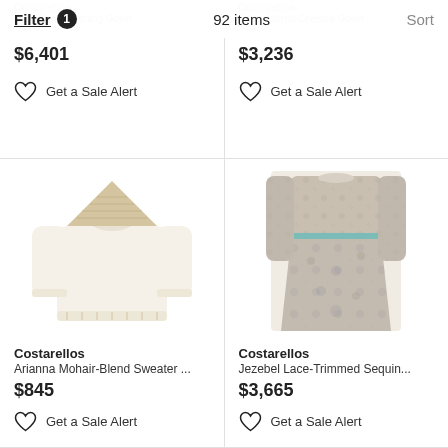Filter 1   92 items   Sort
Costarellos
Series Panel Evening Gown
$6,401
Get a Sale Alert
Costarellos
Embroidered Chelsea Gown
$3,236
Get a Sale Alert
[Figure (photo): White/cream mohair-blend sweater with decorative knit yoke panel at shoulders]
Costarellos
Arianna Mohair-Blend Sweater ...
$845
Get a Sale Alert
[Figure (photo): Floral sequin long-sleeve floor-length gown in muted pastel tones with lace trim details]
Costarellos
Jezebel Lace-Trimmed Sequin...
$3,665
Get a Sale Alert